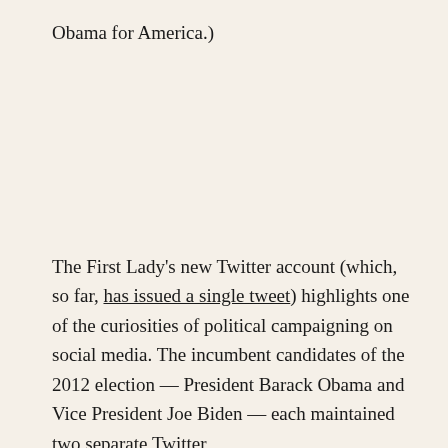Obama for America.)
The First Lady's new Twitter account (which, so far, has issued a single tweet) highlights one of the curiosities of political campaigning on social media. The incumbent candidates of the 2012 election — President Barack Obama and Vice President Joe Biden — each maintained two separate Twitter